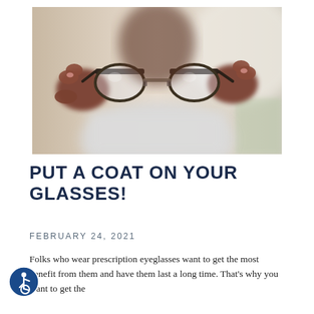[Figure (photo): Person holding up a pair of eyeglasses (browline/clubmaster style frames) toward the camera, with both hands visible. The person is wearing a white shirt. The background is soft/blurred.]
PUT A COAT ON YOUR GLASSES!
FEBRUARY 24, 2021
Folks who wear prescription eyeglasses want to get the most benefit from them and have them last a long time. That's why you want to get the